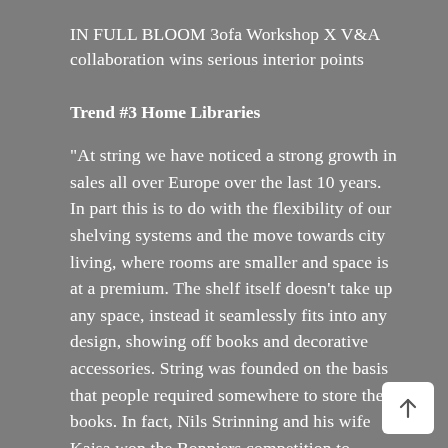IN FULL BLOOM 3ofa Workshop X V&A collaboration wins serious interior points
Trend #3 Home Libraries
“At string we have noticed a strong growth in sales all over Europe over the last 10 years. In part this is to do with the flexibility of our shelving systems and the move towards city living, where rooms are smaller and space is at a premium. The shelf itself doesn’t take up any space, instead it seamlessly fits into any design, showing off books and decorative accessories. String was founded on the basis that people required somewhere to store their books. In fact, Nils Strinning and his wife Kajsa won the Bonniers competition to design a shelf suitable